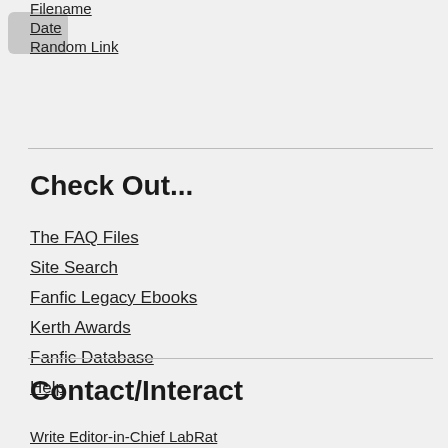Filename
Date
Random Link
Check Out...
The FAQ Files
Site Search
Fanfic Legacy Ebooks
Kerth Awards
Fanfic Database
Help
Contact/Interact
Write Editor-in-Chief LabRat